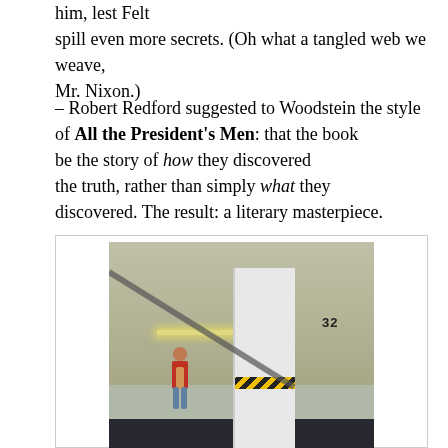him, lest Felt spill even more secrets. (Oh what a tangled web we weave, Mr. Nixon.)
– Robert Redford suggested to Woodstein the style of All the President's Men: that the book be the story of how they discovered the truth, rather than simply what they discovered. The result: a literary masterpiece.
[Figure (photo): A person standing in a parking garage next to a large white pillar labeled '32', with yellow and black hazard stripes at the bottom of the pillar. Fluorescent lights visible on the ceiling.]